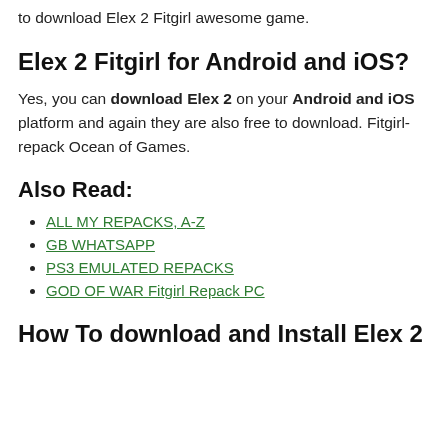to download Elex 2 Fitgirl awesome game.
Elex 2 Fitgirl for Android and iOS?
Yes, you can download Elex 2 on your Android and iOS platform and again they are also free to download. Fitgirl-repack Ocean of Games.
Also Read:
ALL MY REPACKS, A-Z
GB WHATSAPP
PS3 EMULATED REPACKS
GOD OF WAR Fitgirl Repack PC
How To download and Install Elex 2